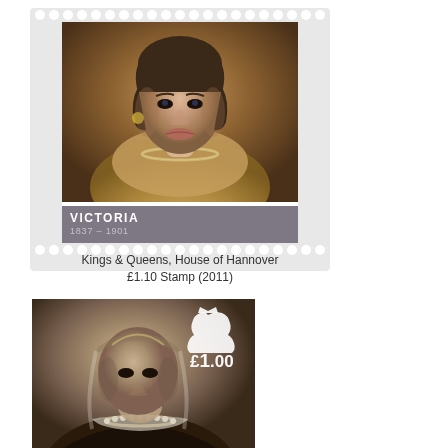[Figure (illustration): A postage stamp from the Kings & Queens, House of Hannover series showing a portrait painting of Queen Victoria with text 'VICTORIA 1837-1901']
Kings & Queens, House of Hannover
£1.10 Stamp (2011)
[Figure (illustration): A Royal Mail postage stamp showing a sepia photograph of Queen Victoria wearing a crown and pearl necklace, with the denomination £1.00 and a queen silhouette watermark]